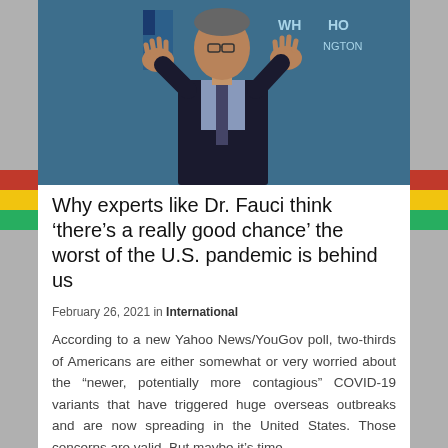[Figure (photo): Dr. Fauci gesturing with both hands raised at a press briefing, wearing a dark suit and tie, with an American flag and blue background visible behind him]
Why experts like Dr. Fauci think ‘there’s a really good chance’ the worst of the U.S. pandemic is behind us
February 26, 2021 in International
According to a new Yahoo News/YouGov poll, two-thirds of Americans are either somewhat or very worried about the “newer, potentially more contagious” COVID-19 variants that have triggered huge overseas outbreaks and are now spreading in the United States. Those concerns are valid. But maybe it’s time...